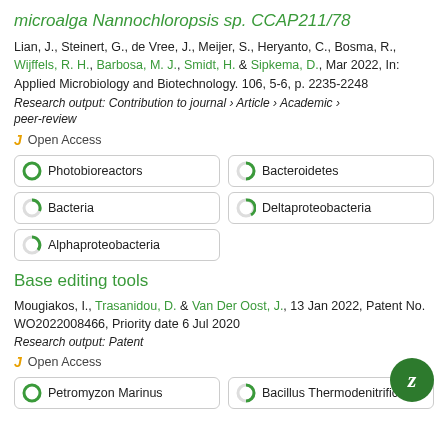microalga Nannochloropsis sp. CCAP211/78
Lian, J., Steinert, G., de Vree, J., Meijer, S., Heryanto, C., Bosma, R., Wijffels, R. H., Barbosa, M. J., Smidt, H. & Sipkema, D., Mar 2022, In: Applied Microbiology and Biotechnology. 106, 5-6, p. 2235-2248
Research output: Contribution to journal › Article › Academic › peer-review
Open Access
Photobioreactors
Bacteroidetes
Bacteria
Deltaproteobacteria
Alphaproteobacteria
Base editing tools
Mougiakos, I., Trasanidou, D. & Van Der Oost, J., 13 Jan 2022, Patent No. WO2022008466, Priority date 6 Jul 2020
Research output: Patent
Open Access
Petromyzon Marinus
Bacillus Thermodenitrificians